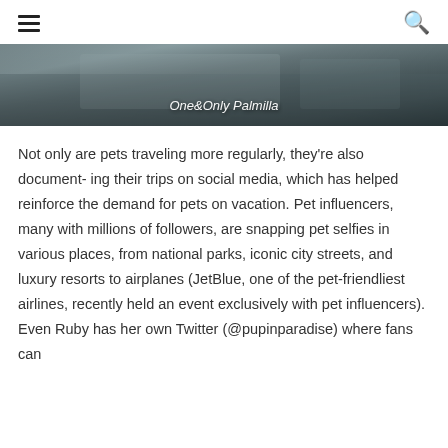menu | search
[Figure (photo): Photo of a resort or hotel setting with text overlay 'One&Only Palmilla']
One&Only Palmilla
Not only are pets traveling more regularly, they're also document- ing their trips on social media, which has helped reinforce the demand for pets on vacation. Pet influencers, many with millions of followers, are snapping pet selfies in various places, from national parks, iconic city streets, and luxury resorts to airplanes (JetBlue, one of the pet-friendliest airlines, recently held an event exclusively with pet influencers). Even Ruby has her own Twitter (@pupinparadise) where fans can